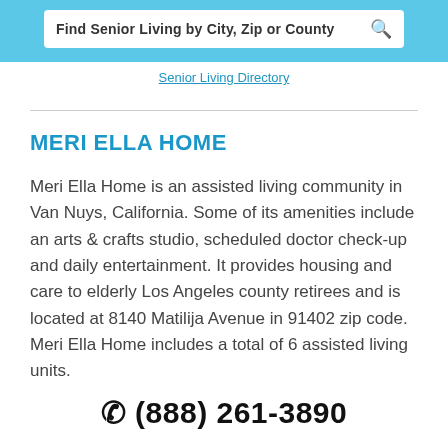Find Senior Living by City, Zip or County
MERI ELLA HOME
Meri Ella Home is an assisted living community in Van Nuys, California. Some of its amenities include an arts & crafts studio, scheduled doctor check-up and daily entertainment. It provides housing and care to elderly Los Angeles county retirees and is located at 8140 Matilija Avenue in 91402 zip code. Meri Ella Home includes a total of 6 assisted living units.
(888) 261-3890